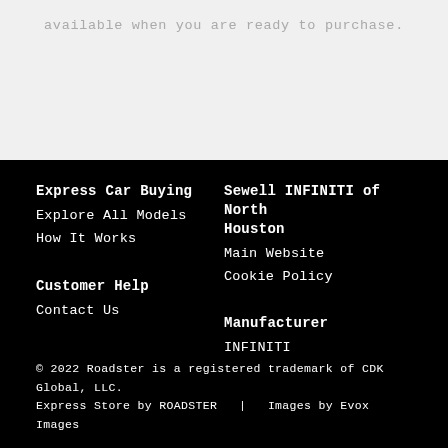available when you are ready to purchase.
Express Car Buying
Explore All Models
How It Works
Sewell INFINITI of North Houston
Main Website
Cookie Policy
Customer Help
Contact Us
Manufacturer
INFINITI
© 2022 Roadster is a registered trademark of CDK Global, LLC. Express Store by ROADSTER  |  Images by Evox Images